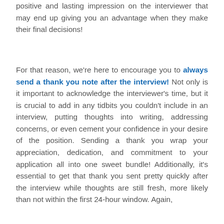positive and lasting impression on the interviewer that may end up giving you an advantage when they make their final decisions!
For that reason, we're here to encourage you to always send a thank you note after the interview! Not only is it important to acknowledge the interviewer's time, but it is crucial to add in any tidbits you couldn't include in an interview, putting thoughts into writing, addressing concerns, or even cement your confidence in your desire of the position. Sending a thank you wrap your appreciation, dedication, and commitment to your application all into one sweet bundle! Additionally, it's essential to get that thank you sent pretty quickly after the interview while thoughts are still fresh, more likely than not within the first 24-hour window. Again,